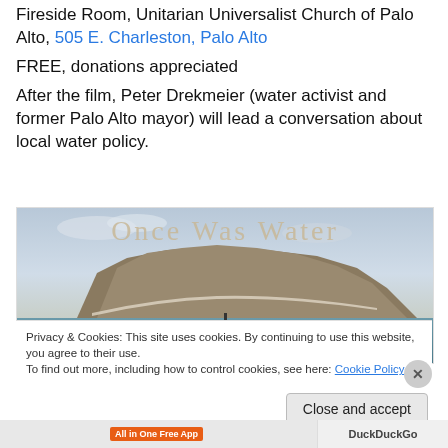Fireside Room, Unitarian Universalist Church of Palo Alto, 505 E. Charleston, Palo Alto
FREE, donations appreciated
After the film, Peter Drekmeier (water activist and former Palo Alto mayor) will lead a conversation about local water policy.
[Figure (photo): Promotional image for the film 'Once Was Water' showing a dry rocky landscape/lake bed with the text 'Once Was Water' overlaid in large sandy-colored letters]
Privacy & Cookies: This site uses cookies. By continuing to use this website, you agree to their use. To find out more, including how to control cookies, see here: Cookie Policy